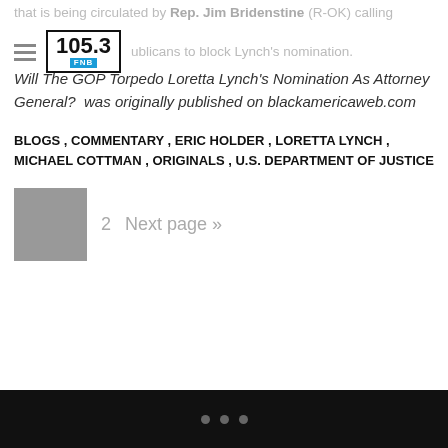that is being circulated by Rep. Jim Bridenstine (R-OK) calling off...Republicans to block Lynch's nomination. [Logo: 105.3 FNB]
Will The GOP Torpedo Loretta Lynch's Nomination As Attorney General? was originally published on blackamericaweb.com
BLOGS , COMMENTARY , ERIC HOLDER , LORETTA LYNCH , MICHAEL COTTMAN , ORIGINALS , U.S. DEPARTMENT OF JUSTICE
[Figure (other): Gray thumbnail image for page 2 pagination]
• • •